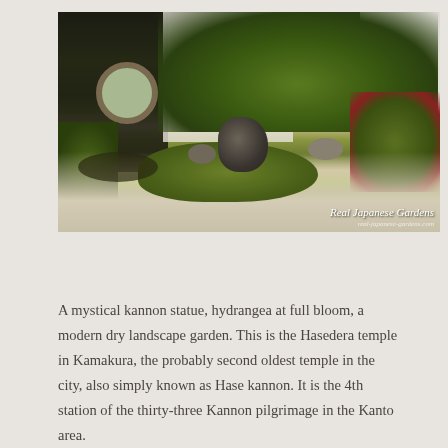[Figure (photo): A Japanese garden at Hasedera temple in Kamakura, showing a modern dry landscape garden with raked gravel, moss islands, large rocks, shaped shrubs, a traditional building with a round circular window (tsukimi-dō), white plaster walls, and lush green trees. Watermark reads 'Real Japanese Gardens' with additional small text below.]
A mystical kannon statue, hydrangea at full bloom, a modern dry landscape garden. This is the Hasedera temple in Kamakura, the probably second oldest temple in the city, also simply known as Hase kannon. It is the 4th station of the thirty-three Kannon pilgrimage in the Kanto area.